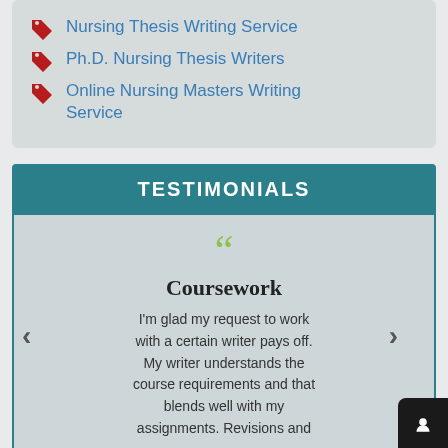Nursing Thesis Writing Service
Ph.D. Nursing Thesis Writers
Online Nursing Masters Writing Service
TESTIMONIALS
[Figure (other): Large green double quotation mark icon]
Coursework
I'm glad my request to work with a certain writer pays off. My writer understands the course requirements and that blends well with my assignments. Revisions and